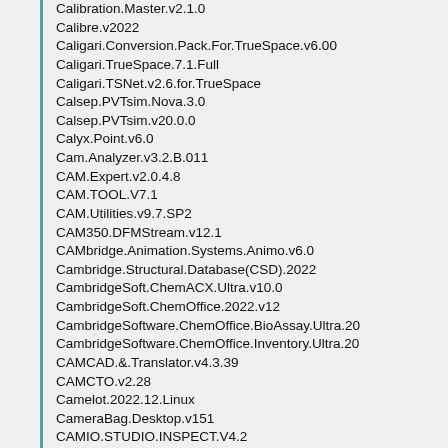Calibration.Master.v2.1.0
Calibre.v2022
Caligari.Conversion.Pack.For.TrueSpace.v6.00
Caligari.TrueSpace.7.1.Full
Caligari.TSNet.v2.6.for.TrueSpace
Calsep.PVTsim.Nova.3.0
Calsep.PVTsim.v20.0.0
Calyx.Point.v6.0
Cam.Analyzer.v3.2.B.011
CAM.Expert.v2.0.4.8
CAM.TOOL.V7.1
CAM.Utilities.v9.7.SP2
CAM350.DFMStream.v12.1
CAMbridge.Animation.Systems.Animo.v6.0
Cambridge.Structural.Database(CSD).2022
CambridgeSoft.ChemACX.Ultra.v10.0
CambridgeSoft.ChemOffice.2022.v12
CambridgeSoftware.ChemOffice.BioAssay.Ultra.20
CambridgeSoftware.ChemOffice.Inventory.Ultra.20
CAMCAD.&.Translator.v4.3.39
CAMCTO.v2.28
Camelot.2022.12.Linux
CameraBag.Desktop.v151
CAMIO.STUDIO.INSPECT.V4.2
CAMMAN.v4.0.5
CAMMaster.Designer.v11.12.7